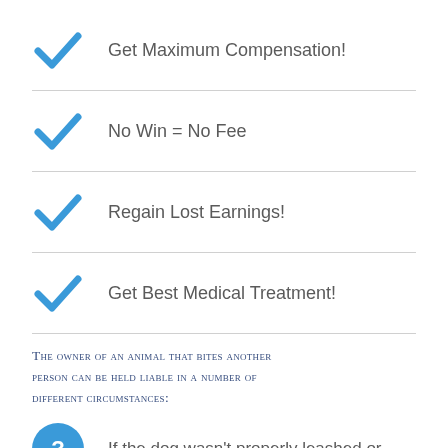Get Maximum Compensation!
No Win = No Fee
Regain Lost Earnings!
Get Best Medical Treatment!
The owner of an animal that bites another person can be held liable in a number of different circumstances:
If the dog wasn't properly leashed or